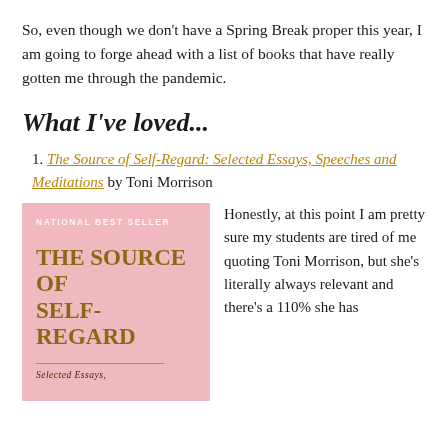So, even though we don't have a Spring Break proper this year, I am going to forge ahead with a list of books that have really gotten me through the pandemic.
What I've loved...
The Source of Self-Regard: Selected Essays, Speeches and Meditations by Toni Morrison
[Figure (photo): Book cover of 'The Source of Self-Regard' by Toni Morrison, pink background with gold title text, labeled National Best Seller, subtitle 'Selected Essays,']
Honestly, at this point I am pretty sure my students are tired of me quoting Toni Morrison, but she's literally always relevant and there's a 110% she has